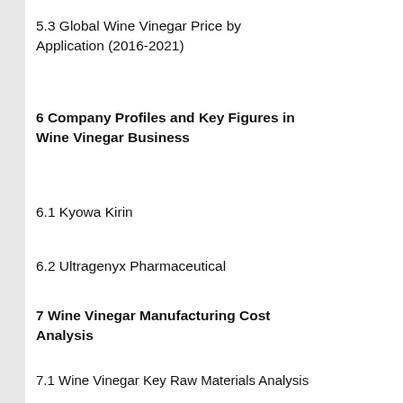5.3 Global Wine Vinegar Price by Application (2016-2021)
6 Company Profiles and Key Figures in Wine Vinegar Business
6.1 Kyowa Kirin
6.2 Ultragenyx Pharmaceutical
7 Wine Vinegar Manufacturing Cost Analysis
7.1 Wine Vinegar Key Raw Materials Analysis
7.2 Proportion of Manufacturing Cost Structure